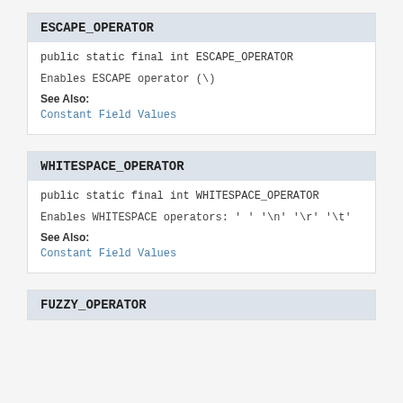ESCAPE_OPERATOR
public static final int ESCAPE_OPERATOR
Enables ESCAPE operator (\)
See Also:
Constant Field Values
WHITESPACE_OPERATOR
public static final int WHITESPACE_OPERATOR
Enables WHITESPACE operators: ' ' '\n' '\r' '\t'
See Also:
Constant Field Values
FUZZY_OPERATOR